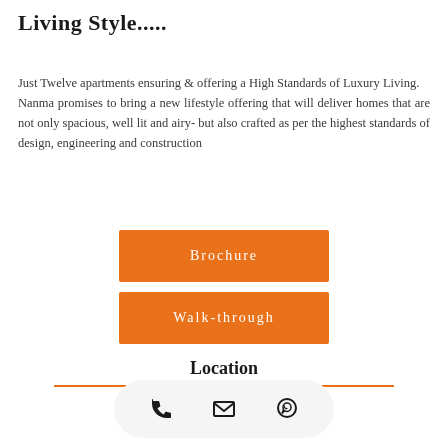Living Style.....
Just Twelve apartments ensuring & offering a High Standards of Luxury Living.
Nanma promises to bring a new lifestyle offering that will deliver homes that are not only spacious, well lit and airy- but also crafted as per the highest standards of design, engineering and construction
Brochure
Walk-through
Location
[Figure (other): Contact bar with phone, email, and WhatsApp icons]